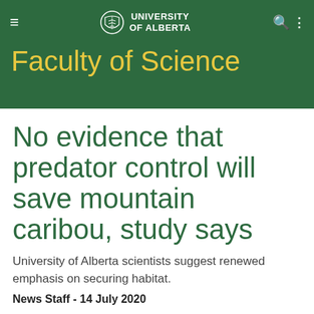UNIVERSITY OF ALBERTA
Faculty of Science
No evidence that predator control will save mountain caribou, study says
University of Alberta scientists suggest renewed emphasis on securing habitat.
News Staff - 14 July 2020